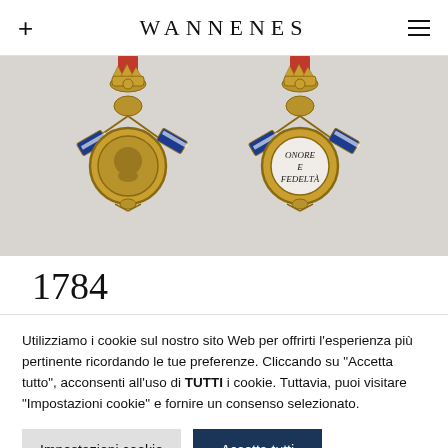WANNENES
[Figure (photo): Two military medals side by side, both featuring golden crowns, crossed blue and white flags, and circular medallions. The left medal shows a portrait, the right shows text reading 'ONORE E FEDELTA'. Both have red ribbons at the top.]
1784
Utilizziamo i cookie sul nostro sito Web per offrirti l'esperienza più pertinente ricordando le tue preferenze. Cliccando su "Accetta tutto", acconsenti all'uso di TUTTI i cookie. Tuttavia, puoi visitare "Impostazioni cookie" e fornire un consenso selezionato.
Impostazioni cookie
Accetta tutti